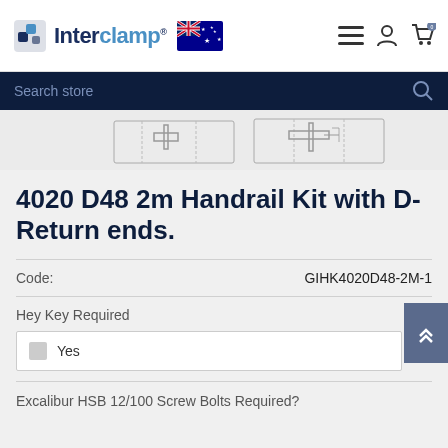Interclamp® [Australian flag] — navigation icons
Search store
[Figure (illustration): Partial product image showing handrail kit line drawings/diagrams with T-junction connectors on light grey background]
4020 D48 2m Handrail Kit with D-Return ends.
Code: GIHK4020D48-2M-1
Hey Key Required
Yes
Excalibur HSB 12/100 Screw Bolts Required?